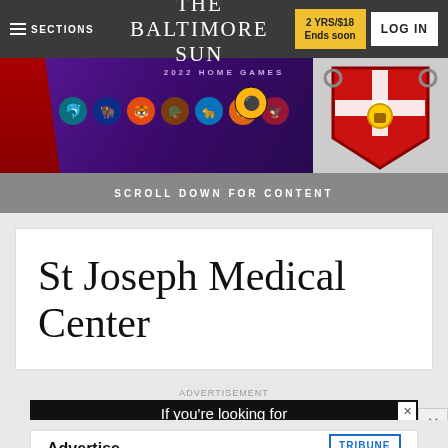THE BALTIMORE SUN | SECTIONS | 2 YRS/$18 Ends soon | LOG IN
[Figure (screenshot): Baltimore Ravens 2022 home games NFL schedule advertisement banner with team logos on purple background, with knight/shield graphic on right]
SCROLL DOWN FOR CONTENT
St Joseph Medical Center
ADVERTISEMENT
[Figure (screenshot): Advertisement: If you're looking for an easy-to-use news app (dark background banner with close X button)]
ADVERTISEMENT
[Figure (screenshot): Advertise - Tribune Publishing advertisement banner (white background)]